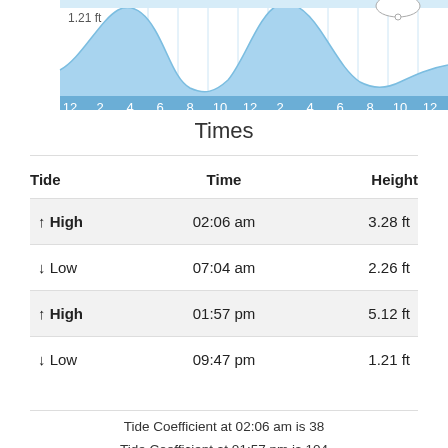[Figure (area-chart): Area chart showing tide height over 24 hours with hour axis labeled 12,2,4,6,8,10,12,2,4,6,8,10,12 with AM/PM labels. Blue shaded area chart. A tooltip bubble visible at top right near the 10 PM mark showing 1.21 ft label at top left.]
Times
| Tide | Time | Height |
| --- | --- | --- |
| ↑ High | 02:06 am | 3.28 ft |
| ↓ Low | 07:04 am | 2.26 ft |
| ↑ High | 01:57 pm | 5.12 ft |
| ↓ Low | 09:47 pm | 1.21 ft |
Tide Coefficient at 02:06 am is 38
Tide Coefficient at 01:57 pm is 104